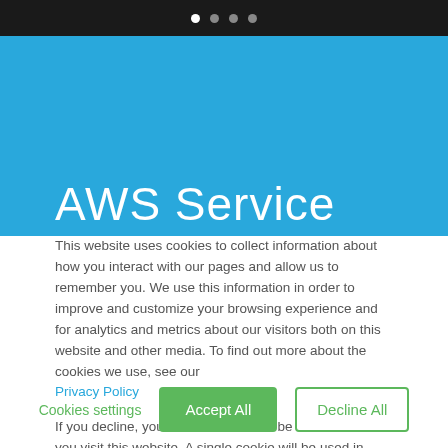[Figure (screenshot): Top black navigation bar with four dots (pagination indicators), one white and three grey]
[Figure (screenshot): Blue AWS banner background with partial text 'AWS Service' in large white light font]
This website uses cookies to collect information about how you interact with our pages and allow us to remember you. We use this information in order to improve and customize your browsing experience and for analytics and metrics about our visitors both on this website and other media. To find out more about the cookies we use, see our Privacy Policy
If you decline, your information won't be tracked when you visit this website. A single cookie will be used in your browser to remember your preference not to be tracked.
Cookies settings
Accept All
Decline All